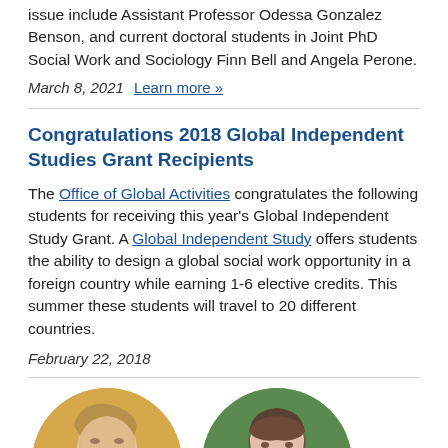issue include Assistant Professor Odessa Gonzalez Benson, and current doctoral students in Joint PhD Social Work and Sociology Finn Bell and Angela Perone.
March 8, 2021   Learn more »
Congratulations 2018 Global Independent Studies Grant Recipients
The Office of Global Activities congratulates the following students for receiving this year's Global Independent Study Grant. A Global Independent Study offers students the ability to design a global social work opportunity in a foreign country while earning 1-6 elective credits. This summer these students will travel to 20 different countries.
February 22, 2018
[Figure (photo): Two circular portrait photos of people, partially visible at bottom of page]